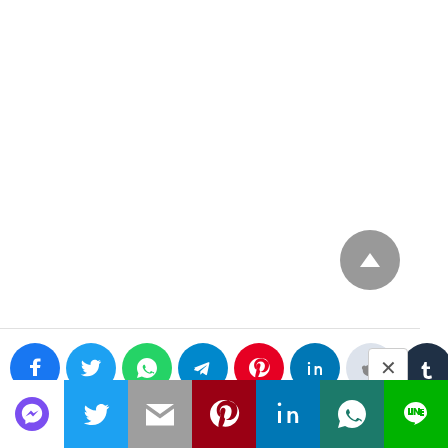[Figure (screenshot): Social media share buttons row showing Facebook, Twitter, WhatsApp, Telegram, Pinterest, LinkedIn, Reddit, and Tumblr circular icons, with an X close button on the right]
[Figure (screenshot): Gray circular scroll-to-top arrow button in the lower right area of the page]
[Figure (screenshot): Bottom navigation/share bar with Messenger (purple), Twitter (blue), Gmail (gray), Pinterest (dark red), LinkedIn (blue), WhatsApp (dark teal), and LINE (green) icons]